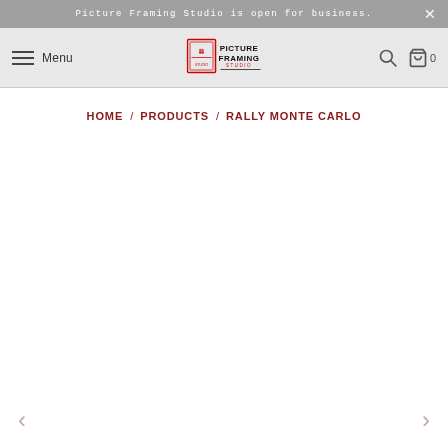Picture Framing Studio is open for business.
Menu | Picture Framing Studio [logo]
HOME / PRODUCTS / RALLY MONTE CARLO